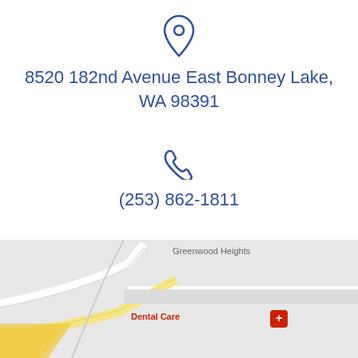[Figure (illustration): Location pin icon (outline style, dark blue)]
8520 182nd Avenue East Bonney Lake, WA 98391
[Figure (illustration): Phone handset icon (outline style, dark blue)]
(253) 862-1811
[Figure (illustration): Envelope/mail icon (outline style, dark blue)]
contact@jdandersonlaw.com
[Figure (map): Google Maps screenshot showing area near 8520 182nd Avenue East Bonney Lake WA, with labels: Greenwood Heights, Northw, Dental Care, United St Postal Se, and street 182]